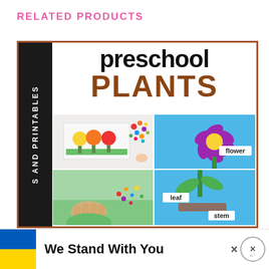RELATED PRODUCTS
[Figure (illustration): Educational product cover image for 'preschool PLANTS' resource. Left black sidebar reads 'S AND PRINTABLES' vertically. Main area shows title 'preschool' in black and 'PLANTS' in brown. Below are four photo quadrants: top-left shows colorful pom-pom craft trees on paper, top-right and bottom-right show a purple paper flower with labels 'flower', 'leaf', 'stem' on blue background, bottom-left shows child's hands doing crafts.]
We Stand With You